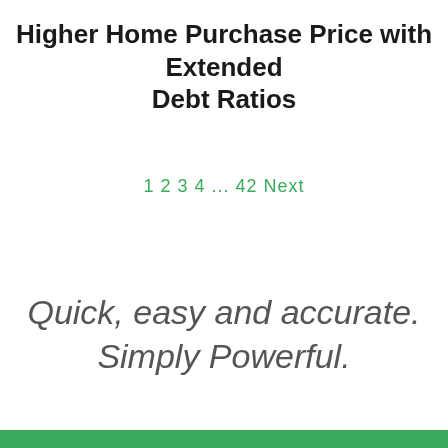Higher Home Purchase Price with Extended Debt Ratios
1 2 3 4 ... 42 Next
Quick, easy and accurate. Simply Powerful.